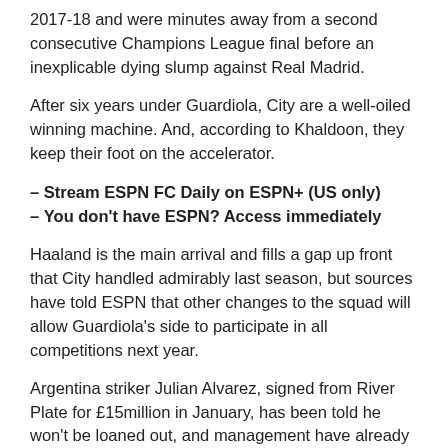2017-18 and were minutes away from a second consecutive Champions League final before an inexplicable dying slump against Real Madrid.
After six years under Guardiola, City are a well-oiled winning machine. And, according to Khaldoon, they keep their foot on the accelerator.
– Stream ESPN FC Daily on ESPN+ (US only)
– You don't have ESPN? Access immediately
Haaland is the main arrival and fills a gap up front that City handled admirably last season, but sources have told ESPN that other changes to the squad will allow Guardiola's side to participate in all competitions next year.
Argentina striker Julian Alvarez, signed from River Plate for £15million in January, has been told he won't be loaned out, and management have already started work to find a new left-back and midfielder to replace Fernandinho, who left after nine seasons at the Etihad Stadium.